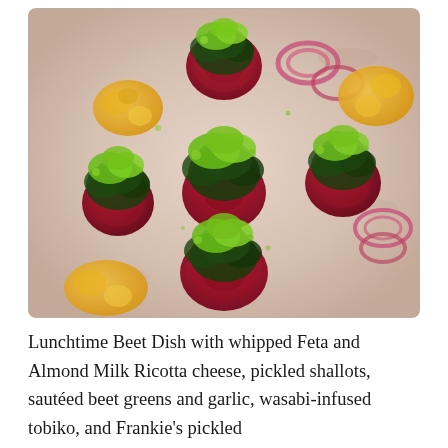[Figure (photo): Overhead photo of lunchtime beet dish plated on a pale ceramic board. Multiple round beet slices topped with sautéed dark green leafy beet greens, bright green wasabi-infused tobiko, whipped feta/almond milk ricotta, yellow cauliflower, and pickled red shallots arranged in a circle.]
Lunchtime Beet Dish with whipped Feta and Almond Milk Ricotta cheese, pickled shallots, sautéed beet greens and garlic, wasabi-infused tobiko, and Frankie's pickled